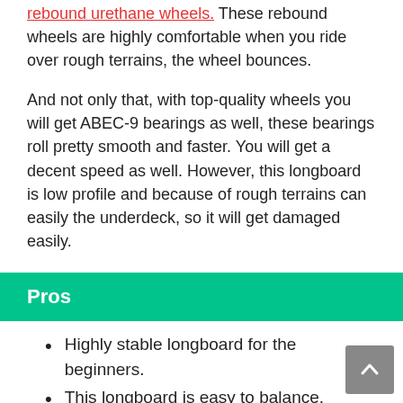rebound urethane wheels. These rebound wheels are highly comfortable when you ride over rough terrains, the wheel bounces.
And not only that, with top-quality wheels you will get ABEC-9 bearings as well, these bearings roll pretty smooth and faster. You will get a decent speed as well. However, this longboard is low profile and because of rough terrains can easily the underdeck, so it will get damaged easily.
Pros
Highly stable longboard for the beginners.
This longboard is easy to balance.
High-quality deck.
Speedy bearings.